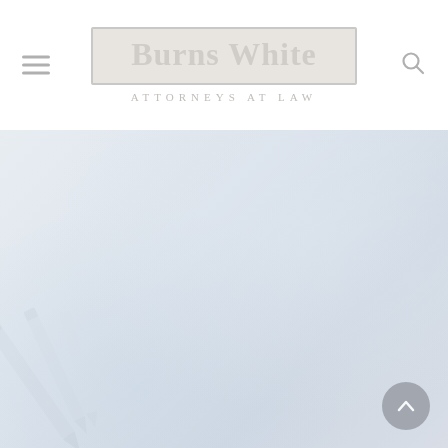[Figure (logo): Burns White Attorneys at Law logo — rectangular box with serif text 'Burns White' and subtitle 'ATTORNEYS AT LAW' in light gray]
[Figure (photo): Faint, washed-out hero background image showing a person in a suit holding a pen, suggesting a legal/document signing context. Very light blue-gray palette.]